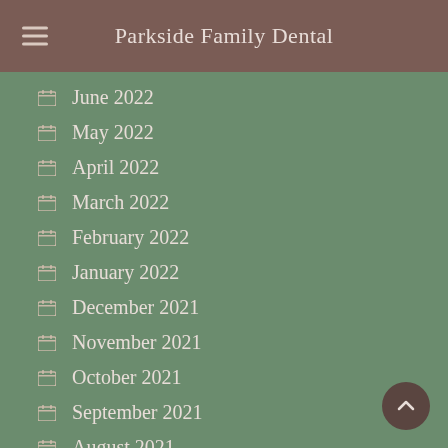Parkside Family Dental
June 2022
May 2022
April 2022
March 2022
February 2022
January 2022
December 2021
November 2021
October 2021
September 2021
August 2021
July 2021
June 2021